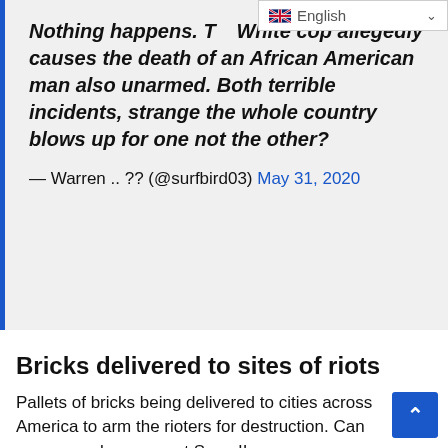[Figure (screenshot): Language selector widget showing UK flag and 'English' text with dropdown chevron]
Nothing happens. T... White cop allegedly causes the death of an African American man also unarmed. Both terrible incidents, strange the whole country blows up for one not the other? — Warren .. ?? (@surfbird03) May 31, 2020
Bricks delivered to sites of riots
Pallets of bricks being delivered to cities across America to arm the rioters for destruction. Can someone please arrest Soros!!